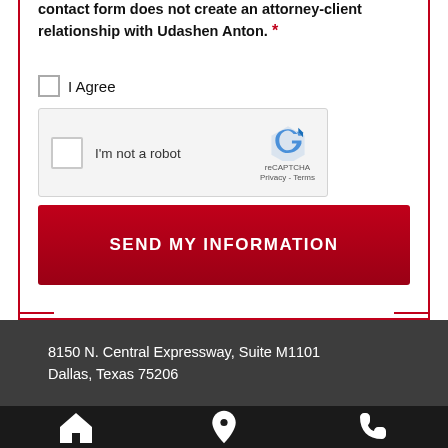contact form does not create an attorney-client relationship with Udashen Anton. *
I Agree
[Figure (screenshot): reCAPTCHA widget with checkbox labeled 'I'm not a robot', reCAPTCHA logo, and Privacy - Terms links]
SEND MY INFORMATION
8150 N. Central Expressway, Suite M1101
Dallas, Texas 75206
[Figure (infographic): Bottom navigation bar with home icon, location pin icon, and phone icon]